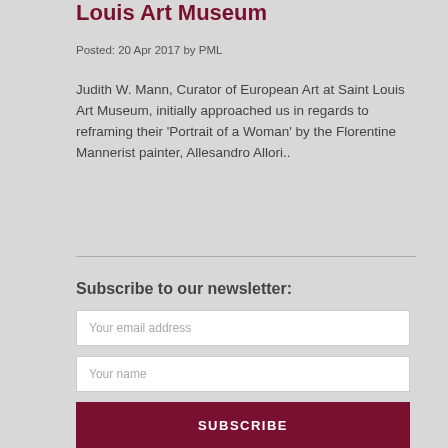Louis Art Museum
Posted: 20 Apr 2017 by PML
Judith W. Mann, Curator of European Art at Saint Louis Art Museum, initially approached us in regards to reframing their 'Portrait of a Woman' by the Florentine Mannerist painter, Allesandro Allori..
Subscribe to our newsletter:
Your email address
Your name
SUBSCRIBE